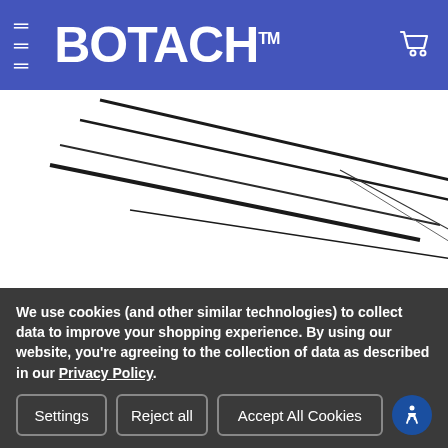[Figure (screenshot): Botach website header with blue background, hamburger menu icon on left, BOTACH™ logo in center, shopping cart icon on right]
[Figure (photo): Gun cleaning kit tools: long metal rods, bronze bore brush, and spiral brushes on white background]
[Figure (photo): Thumbnail 1 (selected): multiple cleaning picks and rods fanned out]
[Figure (photo): Thumbnail 2: cleaning picks fanned out on white background]
[Figure (photo): Thumbnail 3: curved cleaning picks and tools]
We use cookies (and other similar technologies) to collect data to improve your shopping experience. By using our website, you're agreeing to the collection of data as described in our Privacy Policy.
Settings | Reject all | Accept All Cookies